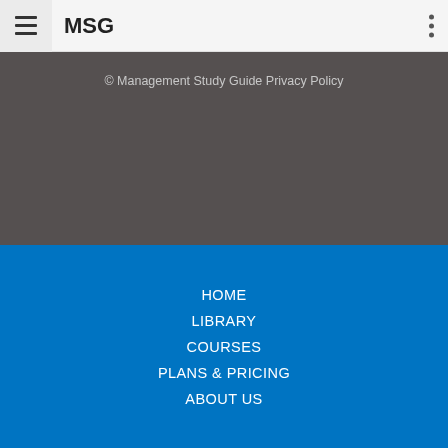MSG
© Management Study Guide Privacy Policy
HOME
LIBRARY
COURSES
PLANS & PRICING
ABOUT US